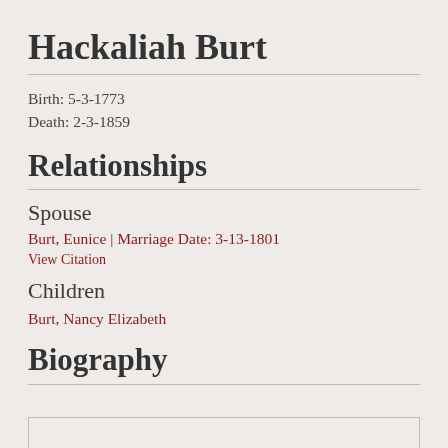Hackaliah Burt
Birth: 5-3-1773
Death: 2-3-1859
Relationships
Spouse
Burt, Eunice | Marriage Date: 3-13-1801
View Citation
Children
Burt, Nancy Elizabeth
Biography